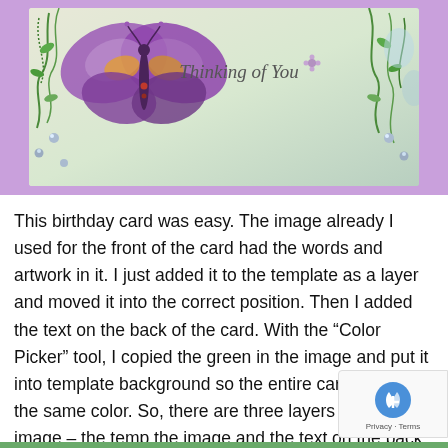[Figure (illustration): A greeting card preview showing a purple/lavender background with a decorative panel at top featuring a purple butterfly, green vines and floral designs on a light background, with cursive text 'Thinking of You']
This birthday card was easy. The image already I used for the front of the card had the words and artwork in it. I just added it to the template as a layer and moved it into the correct position. Then I added the text on the back of the card. With the “Color Picker” tool, I copied the green in the image and put it into template background so the entire card would be the same color. So, there are three layers in this image – the temp the image and the text on the back.